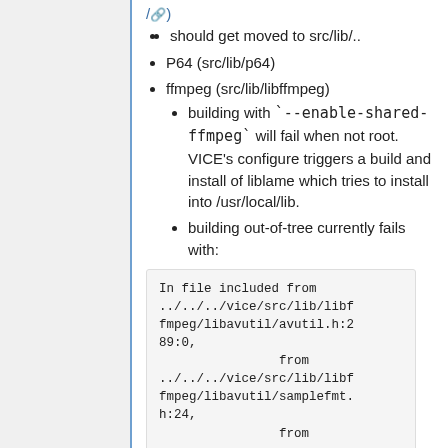/)
should get moved to src/lib/..
P64 (src/lib/p64)
ffmpeg (src/lib/libffmpeg)
building with `--enable-shared-ffmpeg` will fail when not root. VICE's configure triggers a build and install of liblame which tries to install into /usr/local/lib.
building out-of-tree currently fails with:
In file included from
../../../vice/src/lib/libffmpeg/libavutil/avutil.h:289:0,
                from
../../../vice/src/lib/libffmpeg/libavutil/samplefmt.h:24,
                from